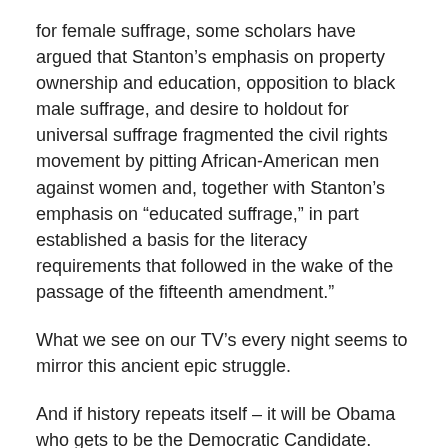for female suffrage, some scholars have argued that Stanton’s emphasis on property ownership and education, opposition to black male suffrage, and desire to holdout for universal suffrage fragmented the civil rights movement by pitting African-American men against women and, together with Stanton’s emphasis on “educated suffrage,” in part established a basis for the literacy requirements that followed in the wake of the passage of the fifteenth amendment.”
What we see on our TV’s every night seems to mirror this ancient epic struggle.
And if history repeats itself – it will be Obama who gets to be the Democratic Candidate.
It also pains me that I seem to know more about the US